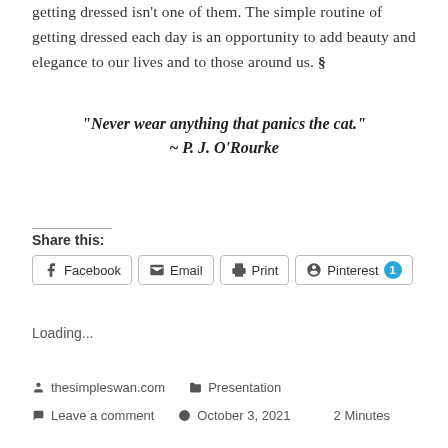getting dressed isn't one of them. The simple routine of getting dressed each day is an opportunity to add beauty and elegance to our lives and to those around us. §
"Never wear anything that panics the cat." ~ P. J. O'Rourke
Share this:
Facebook  Email  Print  Pinterest 1
Loading...
thesimpleswan.com   Presentation
Leave a comment   October 3, 2021   2 Minutes